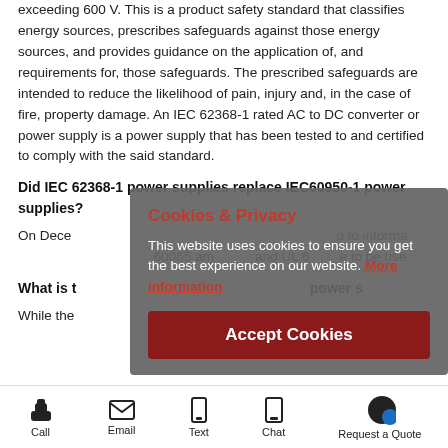exceeding 600 V. This is a product safety standard that classifies energy sources, prescribes safeguards against those energy sources, and provides guidance on the application of, and requirements for, those safeguards. The prescribed safeguards are intended to reduce the likelihood of pain, injury and, in the case of fire, property damage. An IEC 62368-1 rated AC to DC converter or power supply is a power supply that has been tested to and certified to comply with the said standard.
Did IEC 62368-1 power supplies replace IEC60950-1 power supplies?
On Dece... to informa... 60065 am... and UL 6... to be use...
What is t... power s...
While the...
[Figure (screenshot): Cookie & Privacy overlay dialog with title 'Cookies & Privacy', body text 'This website uses cookies to ensure you get the best experience on our website.' with 'More information' link, and an 'Accept Cookies' button.]
Call | Email | Text | Chat | Request a Quote